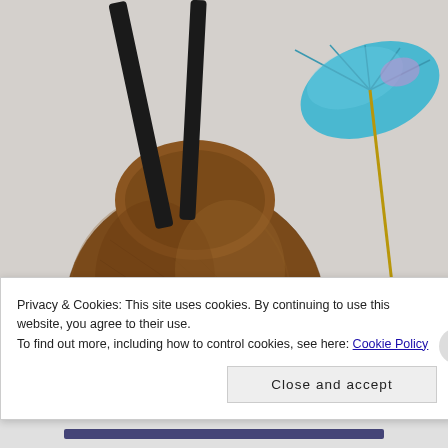[Figure (photo): Overhead photo of a whole coconut with two black straws inserted, next to a glass of coconut milk with white coconut pieces and a blue paper cocktail umbrella, on a light grey/white surface.]
Privacy & Cookies: This site uses cookies. By continuing to use this website, you agree to their use.
To find out more, including how to control cookies, see here: Cookie Policy
Close and accept